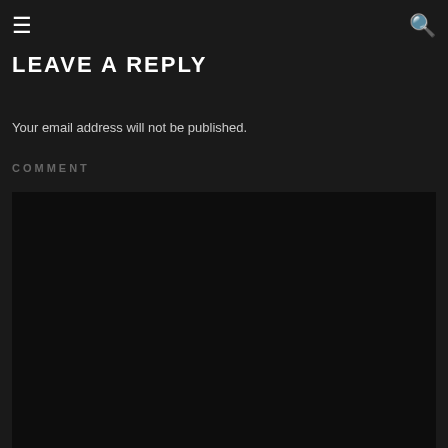≡  🔍
LEAVE A REPLY
Your email address will not be published.
COMMENT
[Figure (other): Dark comment text area input box]